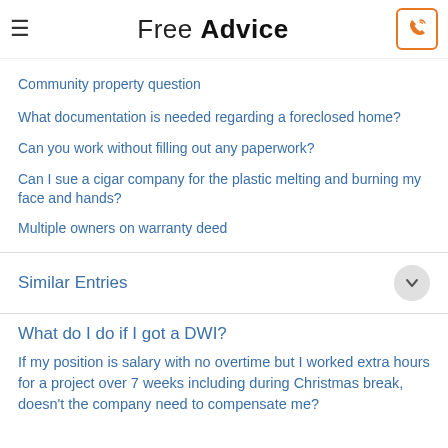Free Advice
Community property question
What documentation is needed regarding a foreclosed home?
Can you work without filling out any paperwork?
Can I sue a cigar company for the plastic melting and burning my face and hands?
Multiple owners on warranty deed
Similar Entries
What do I do if I got a DWI?
If my position is salary with no overtime but I worked extra hours for a project over 7 weeks including during Christmas break, doesn't the company need to compensate me?